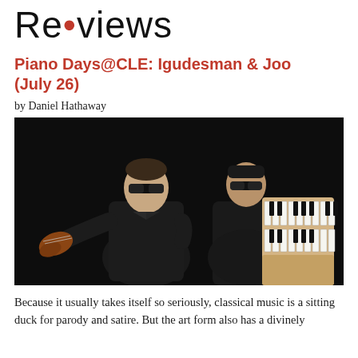Re•views
Piano Days@CLE: Igudesman & Joo (July 26)
by Daniel Hathaway
[Figure (photo): Two men in black suits and dark sunglasses posed back-to-back against a dark background. The man on the left holds a violin, and the man on the right holds a portable keyboard/piano.]
Because it usually takes itself so seriously, classical music is a sitting duck for parody and satire. But the art form also has a divinely